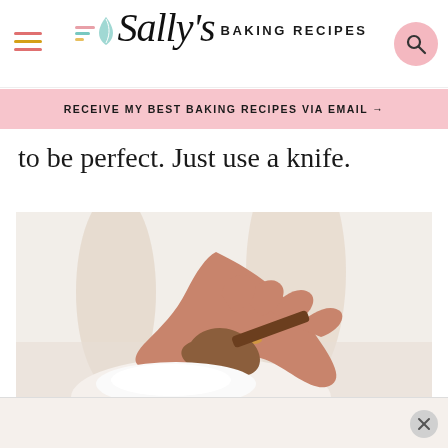Sally's BAKING RECIPES
RECEIVE MY BEST BAKING RECIPES VIA EMAIL →
to be perfect. Just use a knife.
[Figure (photo): Close-up photo of a hand holding a knife spreading or cutting into something white and creamy, with a blurred light background.]